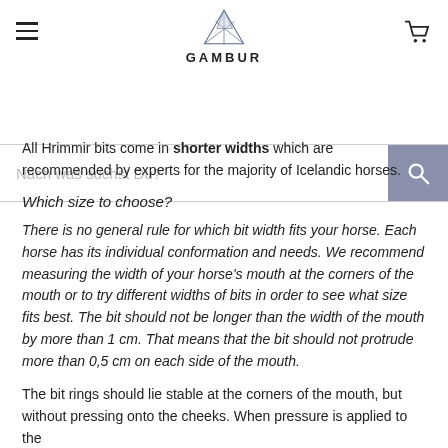GAMBUR
All Hrimmir bits come in shorter widths which are recommended by experts for the majority of Icelandic horses.
Which size to choose?
There is no general rule for which bit width fits your horse. Each horse has its individual conformation and needs. We recommend measuring the width of your horse's mouth at the corners of the mouth or to try different widths of bits in order to see what size fits best. The bit should not be longer than the width of the mouth by more than 1 cm. That means that the bit should not protrude more than 0,5 cm on each side of the mouth.
The bit rings should lie stable at the corners of the mouth, but without pressing onto the cheeks. When pressure is applied to the